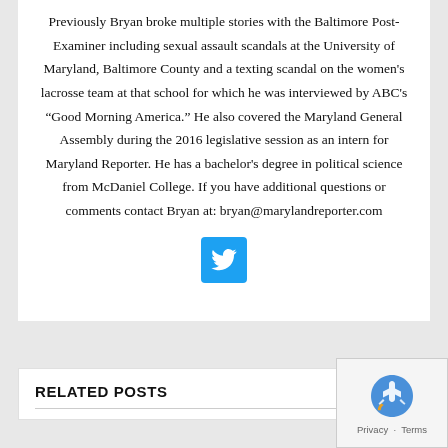Previously Bryan broke multiple stories with the Baltimore Post-Examiner including sexual assault scandals at the University of Maryland, Baltimore County and a texting scandal on the women's lacrosse team at that school for which he was interviewed by ABC's "Good Morning America." He also covered the Maryland General Assembly during the 2016 legislative session as an intern for Maryland Reporter. He has a bachelor's degree in political science from McDaniel College. If you have additional questions or comments contact Bryan at: bryan@marylandreporter.com
[Figure (other): Twitter social media button — blue rounded square with white bird icon]
RELATED POSTS